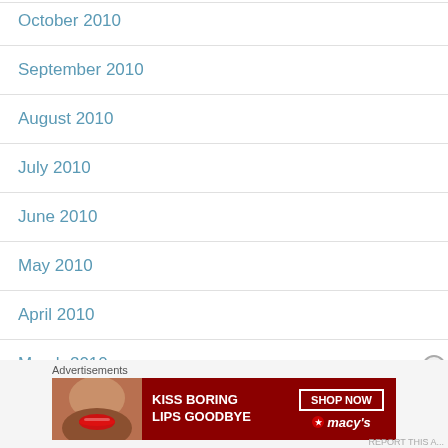October 2010
September 2010
August 2010
July 2010
June 2010
May 2010
April 2010
March 2010
Advertisements
[Figure (photo): Macy's advertisement banner: 'KISS BORING LIPS GOODBYE' with SHOP NOW button and Macy's logo, featuring a woman's face with red lips]